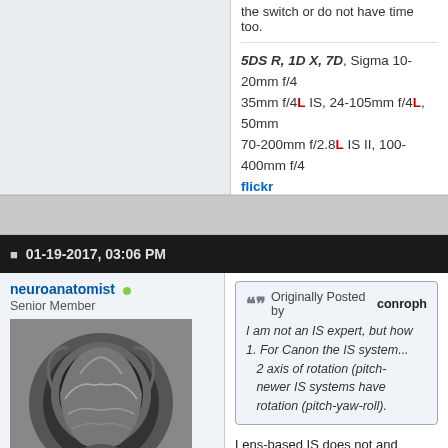the switch or do not have time too.
5DS R, 1D X, 7D, Sigma 10-20mm f/4, 35mm f/4L IS, 24-105mm f/4L, 50mm, 70-200mm f/2.8L IS II, 100-400mm f/4, flickr
01-19-2017, 03:06 PM
neuroanatomist
Senior Member
[Figure (photo): Brain MRI scan profile view avatar image]
Join Date: Dec 2008
Location: Boston, MA
Posts: 3,779
Originally Posted by conroph
I am not an IS expert, but how... 1. For Canon the IS system... 2 axis of rotation (pitch-... newer IS systems have... rotation (pitch-yaw-roll).
Lens-based IS does not and cannot h... lens elements are round, rotating ther... image. Only sensor-based IS can cor...